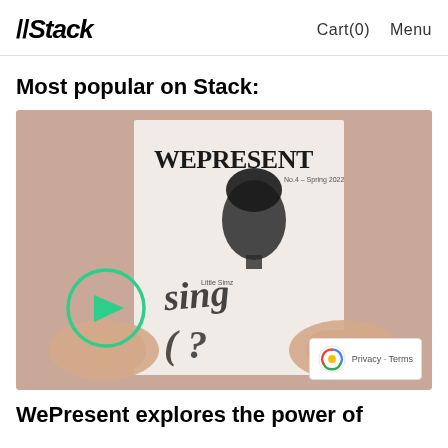//Stack   Cart(0)   Menu
Most popular on Stack:
[Figure (photo): A video thumbnail showing hands holding a magazine titled 'WePresent' with a portrait of a woman on the cover and stylized text. A green play button circle is overlaid on the lower left of the image.]
WePresent explores the power of